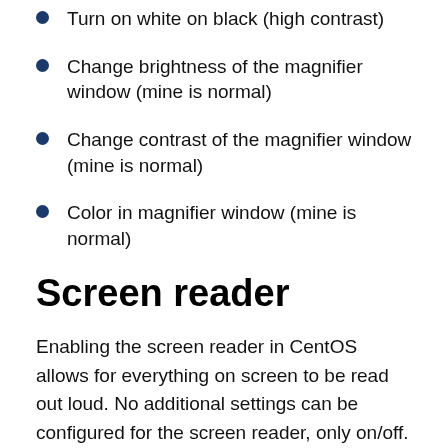Turn on white on black (high contrast)
Change brightness of the magnifier window (mine is normal)
Change contrast of the magnifier window (mine is normal)
Color in magnifier window (mine is normal)
Screen reader
Enabling the screen reader in CentOS allows for everything on screen to be read out loud. No additional settings can be configured for the screen reader, only on/off. While I do use the built-in screen reader for simple actions, I typically use the Orca screen reader that was installed by my professor